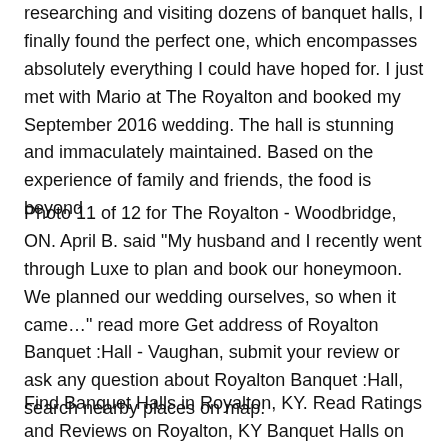researching and visiting dozens of banquet halls, I finally found the perfect one, which encompasses absolutely everything I could have hoped for. I just met with Mario at The Royalton and booked my September 2016 wedding. The hall is stunning and immaculately maintained. Based on the experience of family and friends, the food is beyond
Photo 11 of 12 for The Royalton - Woodbridge, ON. April B. said "My husband and I recently went through Luxe to plan and book our honeymoon. We planned our wedding ourselves, so when it came…" read more Get address of Royalton Banquet :Hall - Vaughan, submit your review or ask any question about Royalton Banquet :Hall, search nearby places on map.
Find Banquet Halls in Royalton, KY. Read Ratings and Reviews on Royalton, KY Banquet Halls on Angie's List